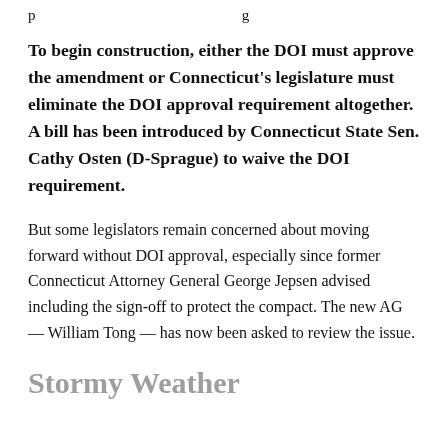…p … … … … … … … … … … …
To begin construction, either the DOI must approve the amendment or Connecticut's legislature must eliminate the DOI approval requirement altogether. A bill has been introduced by Connecticut State Sen. Cathy Osten (D-Sprague) to waive the DOI requirement.
But some legislators remain concerned about moving forward without DOI approval, especially since former Connecticut Attorney General George Jepsen advised including the sign-off to protect the compact. The new AG — William Tong — has now been asked to review the issue.
Stormy Weather